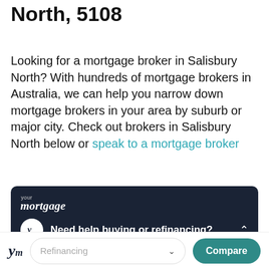North, 5108
Looking for a mortgage broker in Salisbury North? With hundreds of mortgage brokers in Australia, we can help you narrow down mortgage brokers in your area by suburb or major city. Check out brokers in Salisbury North below or speak to a mortgage broker
[Figure (screenshot): Your Mortgage widget with dark navy background showing 'your mortgage' logo and 'Need help buying or refinancing?' prompt with ym icon and chevron]
[Figure (screenshot): Footer bar with ym logo, Refinancing dropdown selector, and teal Compare button]